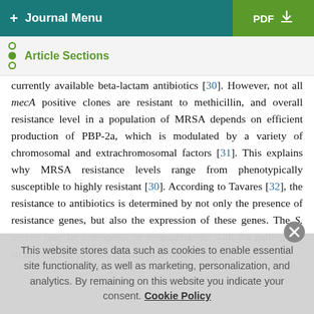+ Journal Menu | PDF ↓
Article Sections
currently available beta-lactam antibiotics [30]. However, not all mecA positive clones are resistant to methicillin, and overall resistance level in a population of MRSA depends on efficient production of PBP-2a, which is modulated by a variety of chromosomal and extrachromosomal factors [31]. This explains why MRSA resistance levels range from phenotypically susceptible to highly resistant [30]. According to Tavares [32], the resistance to antibiotics is determined by not only the presence of resistance genes, but also the expression of these genes. The S. aureus may be pathogenic or nonpathogenic with the pathogenic strains usually exhibiting coagulase-positivity and
This website stores data such as cookies to enable essential site functionality, as well as marketing, personalization, and analytics. By remaining on this website you indicate your consent. Cookie Policy